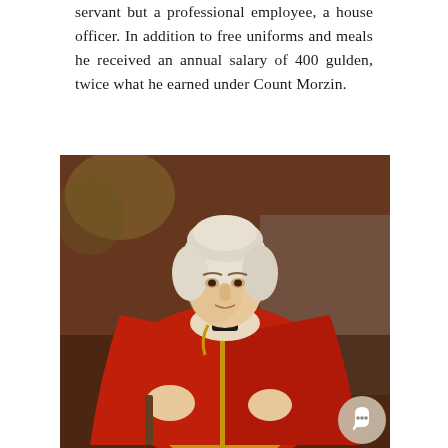servant but a professional employee, a house officer. In addition to free uniforms and meals he received an annual salary of 400 gulden, twice what he earned under Count Morzin.
[Figure (photo): Formal portrait painting of a nobleman in 18th century attire, wearing a red and gold ceremonial robe with white powdered wig, set against a dark brownish-gold background. A chat button overlay appears in the bottom-right corner of the image.]